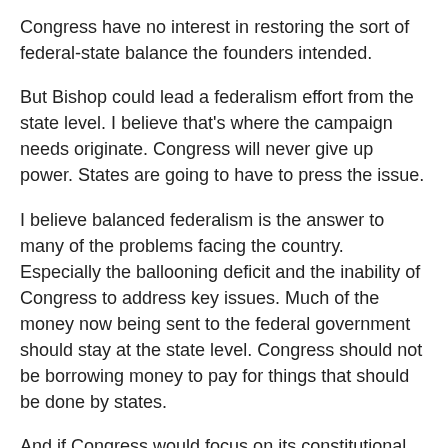Congress have no interest in restoring the sort of federal-state balance the founders intended.
But Bishop could lead a federalism effort from the state level. I believe that's where the campaign needs originate. Congress will never give up power. States are going to have to press the issue.
I believe balanced federalism is the answer to many of the problems facing the country. Especially the ballooning deficit and the inability of Congress to address key issues. Much of the money now being sent to the federal government should stay at the state level. Congress should not be borrowing money to pay for things that should be done by states.
And if Congress would focus on its constitutional duties and leave the rest to the states, perhaps it could accomplish something.